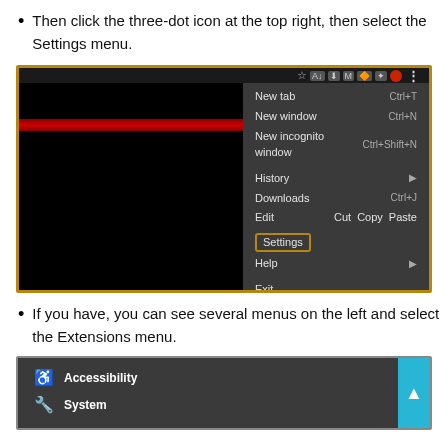Then click the three-dot icon at the top right, then select the Settings menu.
[Figure (screenshot): Chrome browser window showing dropdown menu with options: New tab Ctrl+T, New window Ctrl+N, New incognito window Ctrl+Shift+N, History, Downloads Ctrl+J, Edit/Cut/Copy/Paste, Settings (highlighted with gold border), Help, Exit. The left portion shows a dark browser content area with a red stripe.]
If you have, you can see several menus on the left and select the Extensions menu.
[Figure (screenshot): Chrome Settings page left sidebar showing Accessibility and System menu items with icons. A cyan scroll-to-top button is visible on the right.]